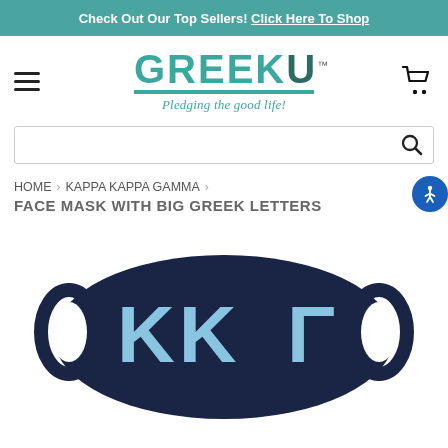Check Out Our Top Sellers! Click Here To Shop
[Figure (logo): GreekU logo with tagline 'Pledging the good life!']
HOME > KAPPA KAPPA GAMMA > FACE MASK WITH BIG GREEK LETTERS
[Figure (photo): Navy blue face mask with light blue Greek letters KKΓ (Kappa Kappa Gamma)]